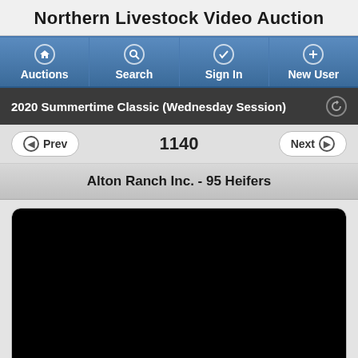Northern Livestock Video Auction
[Figure (screenshot): Navigation bar with four buttons: Auctions (home icon), Search (magnifier icon), Sign In (checkmark icon), New User (plus icon), styled with blue gradient background]
2020 Summertime Classic (Wednesday Session)
Prev  1140  Next
Alton Ranch Inc. - 95 Heifers
[Figure (photo): Black video player area, no content loaded]